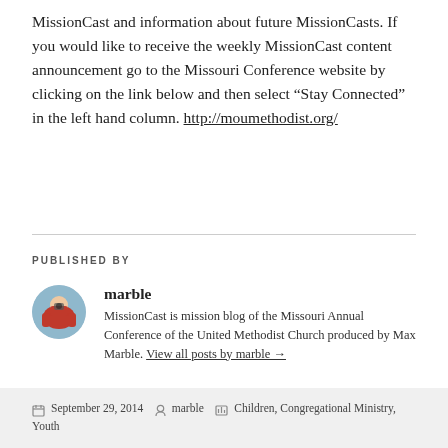MissionCast and information about future MissionCasts. If you would like to receive the weekly MissionCast content announcement go to the Missouri Conference website by clicking on the link below and then select “Stay Connected” in the left hand column. http://moumethodist.org/
PUBLISHED BY
[Figure (photo): Circular avatar photo of the author marble, showing a person with a camera outdoors]
marble
MissionCast is mission blog of the Missouri Annual Conference of the United Methodist Church produced by Max Marble. View all posts by marble →
September 29, 2014   marble   Children, Congregational Ministry, Youth